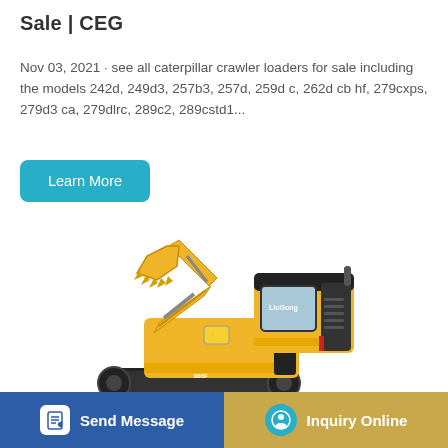Sale | CEG
Nov 03, 2021 · see all caterpillar crawler loaders for sale including the models 242d, 249d3, 257b3, 257d, 259d c, 262d cb hf, 279cxps, 279d3 ca, 279dlrc, 289c2, 289cstd1...
[Figure (other): A yellow LiuGong 906F mini excavator on black crawler tracks, side view on white background]
[Figure (other): Send Message button with document/edit icon, blue background]
[Figure (other): Inquiry Online button with headset icon, gold/tan background]